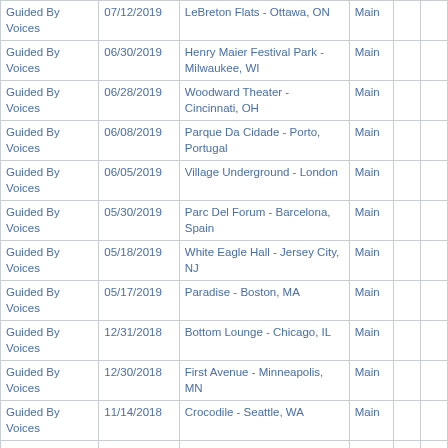| Guided By Voices | 07/12/2019 | LeBreton Flats - Ottawa, ON | Main |  |  |
| Guided By Voices | 06/30/2019 | Henry Maier Festival Park - Milwaukee, WI | Main |  |  |
| Guided By Voices | 06/28/2019 | Woodward Theater - Cincinnati, OH | Main |  |  |
| Guided By Voices | 06/08/2019 | Parque Da Cidade - Porto, Portugal | Main |  |  |
| Guided By Voices | 06/05/2019 | Village Underground - London | Main |  |  |
| Guided By Voices | 05/30/2019 | Parc Del Forum - Barcelona, Spain | Main |  |  |
| Guided By Voices | 05/18/2019 | White Eagle Hall - Jersey City, NJ | Main |  |  |
| Guided By Voices | 05/17/2019 | Paradise - Boston, MA | Main |  |  |
| Guided By Voices | 12/31/2018 | Bottom Lounge - Chicago, IL | Main |  |  |
| Guided By Voices | 12/30/2018 | First Avenue - Minneapolis, MN | Main |  |  |
| Guided By Voices | 11/14/2018 | Crocodile - Seattle, WA | Main |  |  |
| Guided By Voices | 11/13/2018 | Wonder Ballroom - Portland, OR | Main |  |  |
| Guided By Voices | 11/10/2018 | Great American Music Hall - San Francisco, CA | Main |  |  |
| Guided By Voices | 11/09/2018 | Teragram Ballroom - Los Angeles, CA | Main |  |  |
| Guided By Voices | 10/26/2018 | Asbury Hall - Buffalo, NY | Main |  |  |
| Guided By Voices | 10/25/2018 | Lee's Palace - Toronto, ON | Main |  |  |